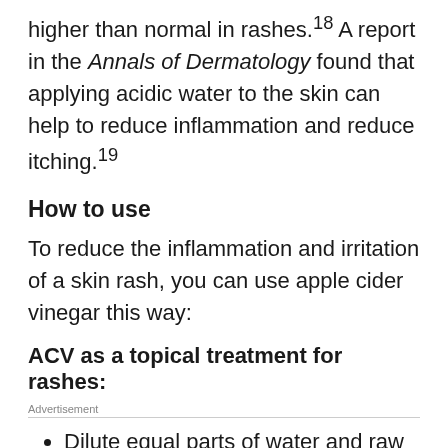higher than normal in rashes.18 A report in the Annals of Dermatology found that applying acidic water to the skin can help to reduce inflammation and reduce itching.19
How to use
To reduce the inflammation and irritation of a skin rash, you can use apple cider vinegar this way:
ACV as a topical treatment for rashes:
Advertisement
Dilute equal parts of water and raw apple cider vinegar
Use a cotton ball and apply the ACV remedy directly to the skin rash